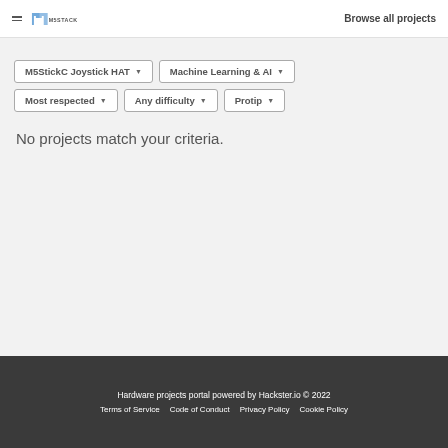M5STACK | Browse all projects
M5StickC Joystick HAT ▾
Machine Learning & AI ▾
Most respected ▾
Any difficulty ▾
Protip ▾
No projects match your criteria.
Hardware projects portal powered by Hackster.io © 2022
Terms of Service   Code of Conduct   Privacy Policy   Cookie Policy